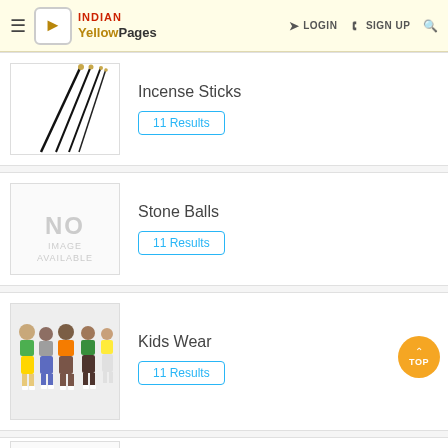Indian Yellow Pages — LOGIN   SIGN UP   Search
[Figure (photo): Incense sticks fanned out against white background]
Incense Sticks
11 Results
[Figure (photo): No Image Available placeholder]
Stone Balls
11 Results
[Figure (photo): Group of children in colorful clothes standing together]
Kids Wear
11 Results